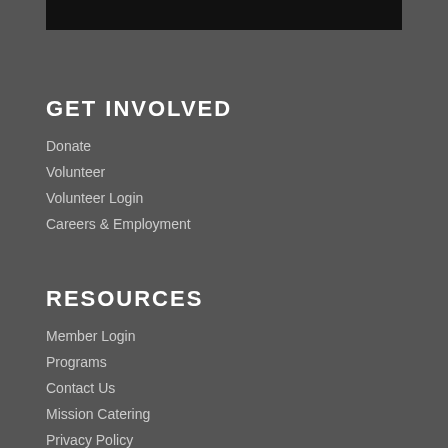[Figure (photo): Black image/banner area at the top of the page]
GET INVOLVED
Donate
Volunteer
Volunteer Login
Careers & Employment
RESOURCES
Member Login
Programs
Contact Us
Mission Catering
Privacy Policy